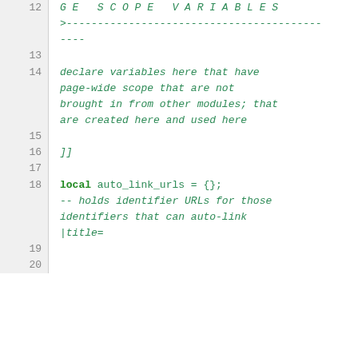code snippet showing lines 12-20 of a Lua/wiki script with page scope variables declaration and auto_link_urls local variable